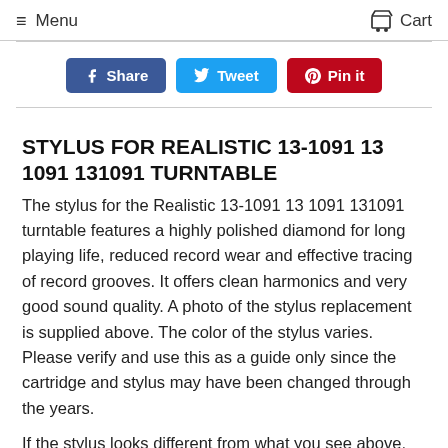Menu   Cart
[Figure (other): Social sharing buttons: Share (Facebook, blue), Tweet (Twitter, cyan), Pin it (Pinterest, red)]
STYLUS FOR REALISTIC 13-1091 13 1091 131091 TURNTABLE
The stylus for the Realistic 13-1091 13 1091 131091 turntable features a highly polished diamond for long playing life, reduced record wear and effective tracing of record grooves. It offers clean harmonics and very good sound quality. A photo of the stylus replacement is supplied above. The color of the stylus varies. Please verify and use this as a guide only since the cartridge and stylus may have been changed through the years.
If the stylus looks different from what you see above, the...